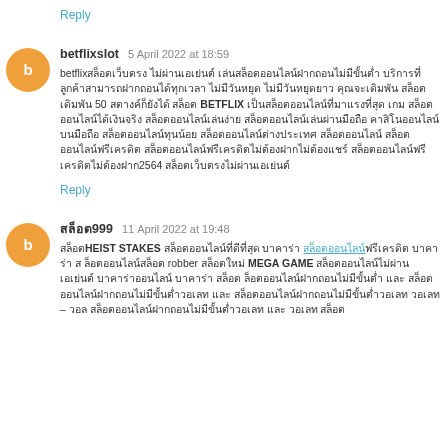Reply
betflixslot  5 April 2022 at 18:59
betflixสล็อตเว็บตรง ไม่ผ่านเอเย่นต์ เล่นสล็อตออนไลน์ฝากถอนไม่มีขั้นต่ำ บริการที่ ลูกค้าสามารถฝากถอนได้ทุกเวลา ไม่มีวันหยุด ไม่มีวันหยุดยาว คุณจะเดิมพัน สล็อตเดิมพัน 50 สตางค์ก็ยังได้ สล็อต BETFLIX เป็นสล็อตออนไลน์ที่มาแรงที่สุด เกม สล็อตออนไลน์ได้เงินจริง สล็อตออนไลน์เล่นง่าย สล็อตออนไลน์เล่นผ่านมือถือ คาสิโนออนไลน์บนมือถือ สล็อตออนไลน์ทุนน้อย สล็อตออนไลน์ต่างประเทศ สล็อตออนไลน์ สล็อตออนไลน์ฟรีเครดิต สล็อตออนไลน์ฟรีเครดิตไม่ต้องฝากไม่ต้องแชร์ สล็อตออนไลน์ฟรีเครดิตไม่ต้องฝาก2564 สล็อตเว็บตรงไม่ผ่านเอเย่นต์
Reply
สล็อต999  11 April 2022 at 19:48
สล็อตHEIST STAKES สล็อตออนไลน์ที่ดีที่สุด บาคาร่า สล็อตออนไลน์ฟรีเครดิต บาคาร่า ส ล็อตออนไลน์สล็อต robber สล็อตใหม่ MEGA GAME สล็อตออนไลน์ไม่ผ่านเอเย่นต์ บาคาร่าออนไลน์ บาคาร่า สล็อต ล็อตออนไลน์ฝากถอนไม่มีขั้นต่ำ และ สล็อตออนไลน์ฝากถอนไม่มีขั้นต่ำวอเลท และ สล็อตออนไลน์ฝากถอนไม่มีขั้นต่ำวอเลท วอเลท – วอล สล็อตออนไลน์ฝากถอนไม่มีขั้นต่ำวอเลท และ วอเลท สล็อต